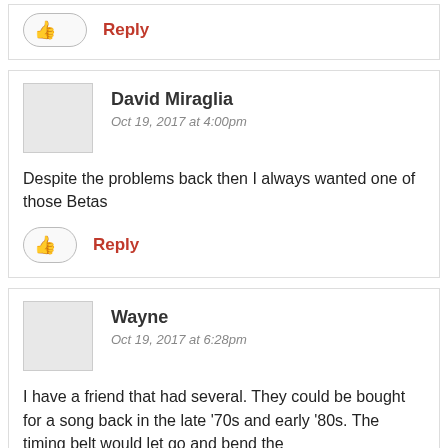[Figure (other): Like button and Reply link at top of page (partial comment section)]
David Miraglia
Oct 19, 2017 at 4:00pm
Despite the problems back then I always wanted one of those Betas
[Figure (other): Like button and Reply link for David Miraglia comment]
Wayne
Oct 19, 2017 at 6:28pm
I have a friend that had several. They could be bought for a song back in the late ‘70s and early ‘80s. The timing belt would let go and bend the